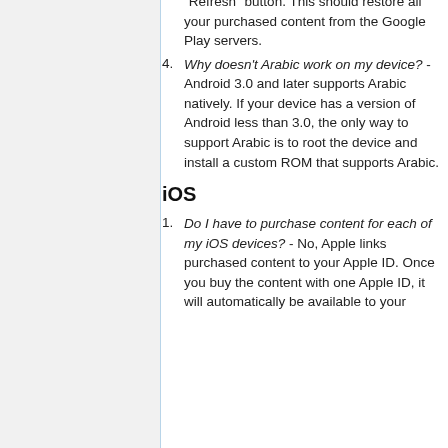"Refresh" button. This should restore all your purchased content from the Google Play servers.
Why doesn't Arabic work on my device? - Android 3.0 and later supports Arabic natively. If your device has a version of Android less than 3.0, the only way to support Arabic is to root the device and install a custom ROM that supports Arabic.
iOS
Do I have to purchase content for each of my iOS devices? - No, Apple links purchased content to your Apple ID. Once you buy the content with one Apple ID, it will automatically be available to your